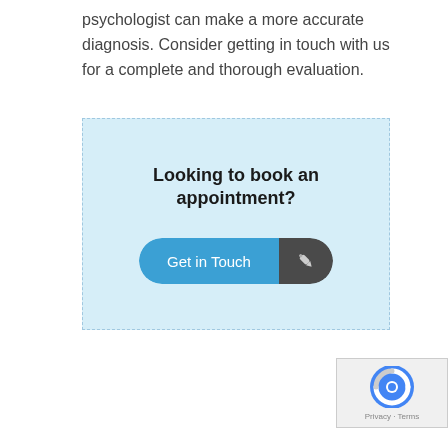psychologist can make a more accurate diagnosis. Consider getting in touch with us for a complete and thorough evaluation.
[Figure (infographic): Light blue dashed-border card with bold heading 'Looking to book an appointment?' and a pill-shaped button split into blue 'Get in Touch' left side and dark grey pencil icon right side.]
[Figure (logo): reCAPTCHA logo and Privacy - Terms text in bottom right corner]